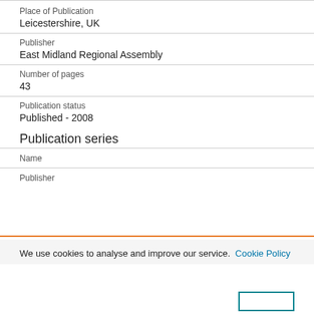Place of Publication
Leicestershire, UK
Publisher
East Midland Regional Assembly
Number of pages
43
Publication status
Published - 2008
Publication series
Name
Publisher
We use cookies to analyse and improve our service.  Cookie Policy